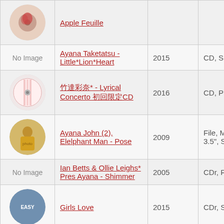| Image | Title | Year | Format |
| --- | --- | --- | --- |
| (album art) | Apple Feuille |  |  |
| No Image | Ayana Taketatsu - Little*Lion*Heart | 2015 | CD, Single |
| (album art) | 竹達彩奈* - Lyrical Concerto 初回限定CD | 2016 | CD, Promo |
| (album art) | Ayana John (2), Elelphant Man - Pose | 2009 | File, MP3, WAV, 3.5", Stereo |
| No Image | Ian Betts & Ollie Leighs* Pres Ayana - Shimmer | 2005 | CDr, Promo |
| (album art) | Girls Love | 2015 | CDr, Single, |